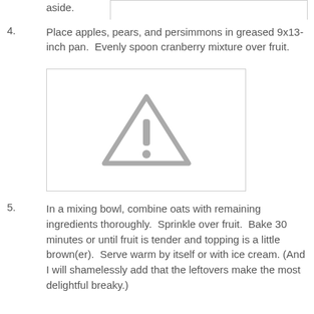aside.
4. Place apples, pears, and persimmons in greased 9x13-inch pan.  Evenly spoon cranberry mixture over fruit.
[Figure (other): Placeholder image with a grey warning triangle exclamation mark icon on a white background with a light grey border]
5. In a mixing bowl, combine oats with remaining ingredients thoroughly.  Sprinkle over fruit.  Bake 30 minutes or until fruit is tender and topping is a little brown(er).  Serve warm by itself or with ice cream. (And I will shamelessly add that the leftovers make the most delightful breaky.)